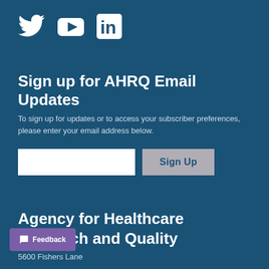[Figure (logo): Social media icons: Twitter bird, YouTube play button, LinkedIn 'in' logo, all white on dark blue background]
Sign up for AHRQ Email Updates
To sign up for updates or to access your subscriber preferences, please enter your email address below.
[Figure (other): Email input field (white rectangle) and Sign Up button (gray with dark blue text)]
Agency for Healthcare Research and Quality
5600 Fishers Lane